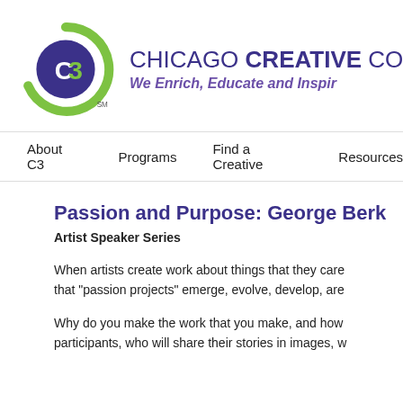[Figure (logo): Chicago Creative Coalition logo: a dark blue circle with white 'C3' text, surrounded by a lime green arc, with 'SM' superscript, next to the organization name and tagline.]
CHICAGO CREATIVE COALITIO... We Enrich, Educate and Inspir...
About C3   Programs   Find a Creative   Resources
Passion and Purpose: George Ber...
Artist Speaker Series
When artists create work about things that they care... that "passion projects" emerge, evolve, develop, are...
Why do you make the work that you make, and how... participants, who will share their stories in images, w...